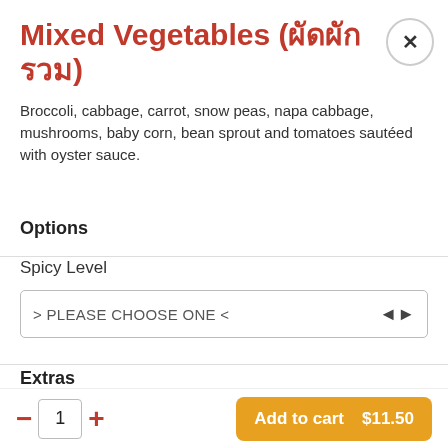Mixed Vegetables (ผัดผักรวม)
Broccoli, cabbage, carrot, snow peas, napa cabbage, mushrooms, baby corn, bean sprout and tomatoes sautéed with oyster sauce.
Options
Spicy Level
> PLEASE CHOOSE ONE <
Extras
− 1 + Add to cart $11.50